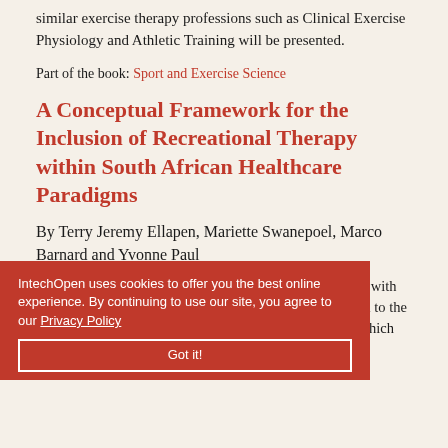similar exercise therapy professions such as Clinical Exercise Physiology and Athletic Training will be presented.
Part of the book: Sport and Exercise Science
A Conceptual Framework for the Inclusion of Recreational Therapy within South African Healthcare Paradigms
By Terry Jeremy Ellapen, Mariette Swanepoel, Marco Barnard and Yvonne Paul
Final-phase rehabilitation in South Africa is synonymous with the professions of Physiotherapy and little attention given to the contribution of the profession of Recreational Therapy, which successfully contributes to other international healthcare paradigms. The primary aim was to